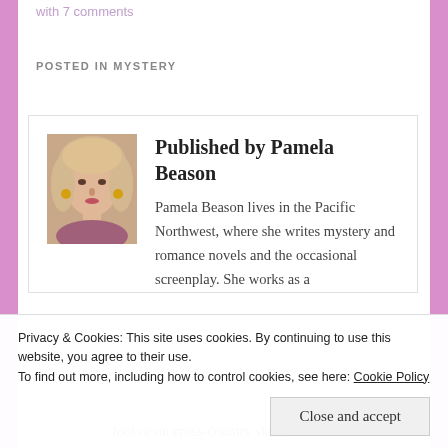with 7 comments
POSTED IN MYSTERY
[Figure (photo): Author headshot of Pamela Beason, a woman with blonde hair]
Published by Pamela Beason
Pamela Beason lives in the Pacific Northwest, where she writes mystery and romance novels and the occasional screenplay. She works as a foot or on cross-country skis,
Privacy & Cookies: This site uses cookies. By continuing to use this website, you agree to their use.
To find out more, including how to control cookies, see here: Cookie Policy
Close and accept